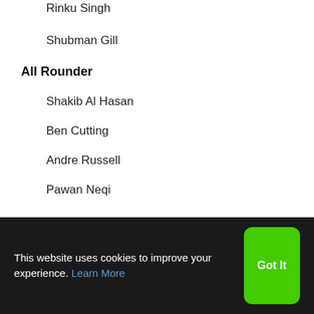Rinku Singh
Shubman Gill
All Rounder
Shakib Al Hasan
Ben Cutting
Andre Russell
Pawan Neqi
This website uses cookies to improve your experience. Learn More
Got It